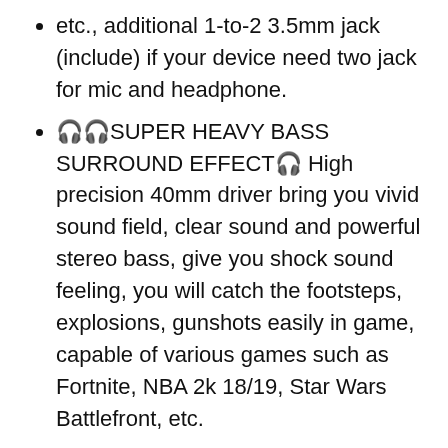etc., additional 1-to-2 3.5mm jack (include) if your device need two jack for mic and headphone.
🎧🎧SUPER HEAVY BASS SURROUND EFFECT🎧 High precision 40mm driver bring you vivid sound field, clear sound and powerful stereo bass, give you shock sound feeling, you will catch the footsteps, explosions, gunshots easily in game, capable of various games such as Fortnite, NBA 2k 18/19, Star Wars Battlefront, etc.
🎮🎮PROFESSIONAL DESIGN FOR GAMING🎮 Noise isolation Microphone + Volume Control on cable+ One Key Mute, which can bring you the best gaming experience. The Glaring LED lights designed on the ear cups to highlight game atmosphere.
🎧🎧HUMANIZED DESIGN FOR DURABLE WEAR🎧Skin friendly leather material and